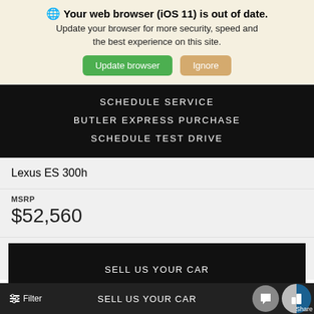🌐 Your web browser (iOS 11) is out of date. Update your browser for more security, speed and the best experience on this site.
Update browser | Ignore
SCHEDULE SERVICE
BUTLER EXPRESS PURCHASE
SCHEDULE TEST DRIVE
Lexus ES 300h
MSRP
$52,560
START EXPRESS PURCHASE
CONFIRM AVAILABILITY
SELL US YOUR CAR
Filter | Share